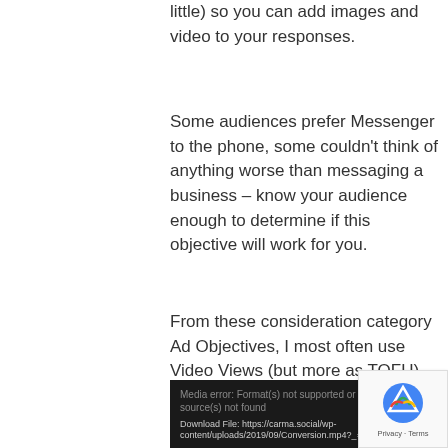little) so you can add images and video to your responses.
Some audiences prefer Messenger to the phone, some couldn’t think of anything worse than messaging a business – know your audience enough to determine if this objective will work for you.
From these consideration category Ad Objectives, I most often use Video Views (but more as TOFU) , Traffic and Engagement for my campaigns and the others less often or not at all.
[Figure (screenshot): Dark media player box showing error message: 'Media error: Format(s) not supported or source(s) not found' with download link to https://carma.social/wp-content/uploads/2019/09/Conversion.mp4?_=4]
[Figure (other): reCAPTCHA widget showing Google recaptcha logo and 'Privacy - Terms' text]